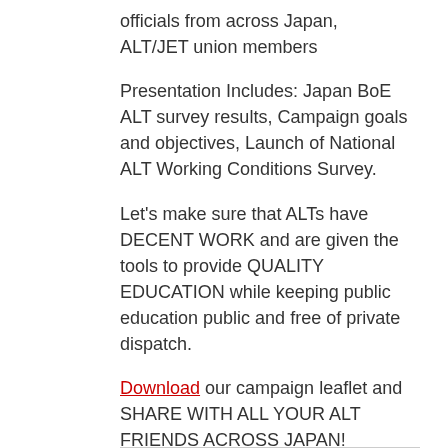officials from across Japan, ALT/JET union members
Presentation Includes: Japan BoE ALT survey results, Campaign goals and objectives, Launch of National ALT Working Conditions Survey.
Let's make sure that ALTs have DECENT WORK and are given the tools to provide QUALITY EDUCATION while keeping public education public and free of private dispatch.
Download our campaign leaflet and SHARE WITH ALL YOUR ALT FRIENDS ACROSS JAPAN!
› Read more...